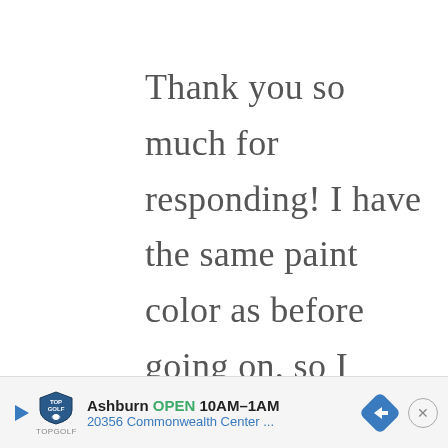Thank you so much for responding! I have the same paint color as before going on, so I definitely plan to
[Figure (screenshot): Advertisement banner at the bottom: Topgolf logo with play button icon, 'Ashburn OPEN 10AM–1AM', '20356 Commonwealth Center ...', blue navigation arrow diamond icon, and close (×) button.]